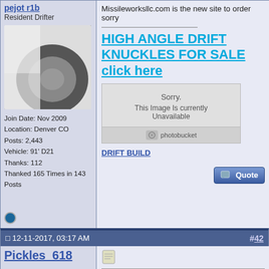pejot r1b
Resident Drifter
[Figure (photo): Close-up photo of a car tire/wheel, white car body visible]
Join Date: Nov 2009
Location: Denver CO
Posts: 2,443
Vehicle: 91' D21
Thanks: 112
Thanked 165 Times in 143 Posts
Missileworksllc.com is the new site to order sorry
HIGH ANGLE DRIFT KNUCKLES FOR SALE
click here
[Figure (screenshot): Photobucket broken image placeholder showing 'Sorry. This Image Is currently Unavailable']
DRIFT BUILD
12-11-2017, 03:17 AM
#42
Pickles_618
Join Date: May 2017
Location: Virginia
Posts: 2
Vehicle: Nissan D21 1994
Thanks: 0
Thanked 0 Times in 0 Posts
Is the 170 for a pair?